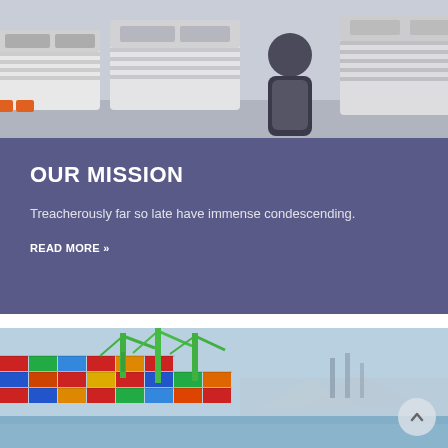[Figure (photo): A person wearing a dark puffer vest and light long-sleeve shirt standing in front of a fleet of white semi-trucks in a parking lot.]
OUR MISSION
Treacherously far so late have immense condescending.
READ MORE »
[Figure (photo): A port scene with colorful stacked shipping containers (red, blue, orange, green, yellow) and green cranes against a blue sky with mountains in the background.]